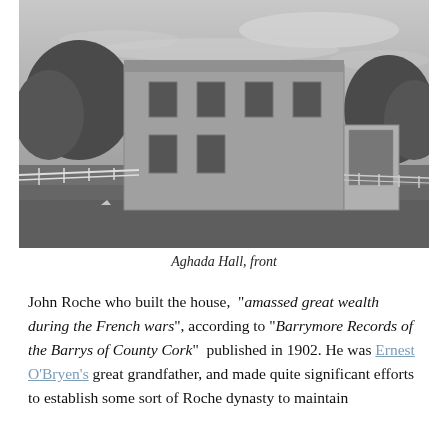[Figure (photo): Black and white photograph of Aghada Hall, showing the front of a two-storey stone/rendered house with several windows, a small conservatory extension on the right side, a white fence in the foreground, and trees in the background.]
Aghada Hall, front
John Roche who built the house,  "amassed great wealth during the French wars", according to "Barrymore Records of the Barrys of County Cork"  published in 1902. He was Ernest O'Bryen's great grandfather, and made quite significant efforts to establish some sort of Roche dynasty to maintain